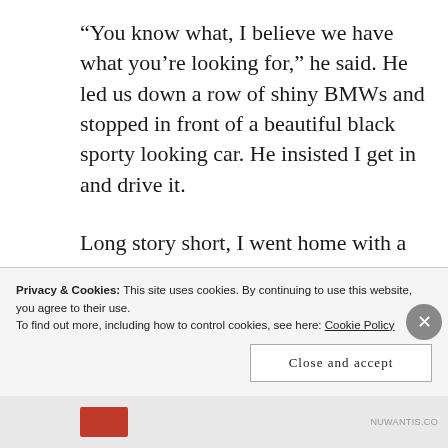“You know what, I believe we have what you’re looking for,” he said. He led us down a row of shiny BMWs and stopped in front of a beautiful black sporty looking car. He insisted I get in and drive it.
Long story short, I went home with a brand new BMW 4 Series coupe instead of the Altima. It turned out to be (only) $20,000 more than the Nissan so I paid half down then
Privacy & Cookies: This site uses cookies. By continuing to use this website, you agree to their use.
To find out more, including how to control cookies, see here: Cookie Policy
Close and accept